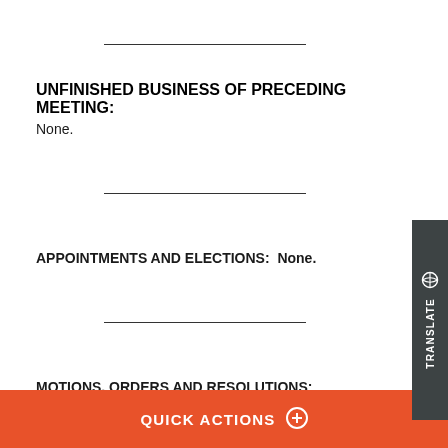UNFINISHED BUSINESS OF PRECEDING MEETING:
None.
APPOINTMENTS AND ELECTIONS:  None.
MOTIONS, ORDERS AND RESOLUTIONS:
QUICK ACTIONS